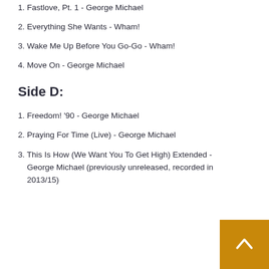1. Fastlove, Pt. 1 - George Michael
2. Everything She Wants - Wham!
3. Wake Me Up Before You Go-Go - Wham!
4. Move On - George Michael
Side D:
1. Freedom! '90 - George Michael
2. Praying For Time (Live) - George Michael
3. This Is How (We Want You To Get High) Extended - George Michael (previously unreleased, recorded in 2013/15)